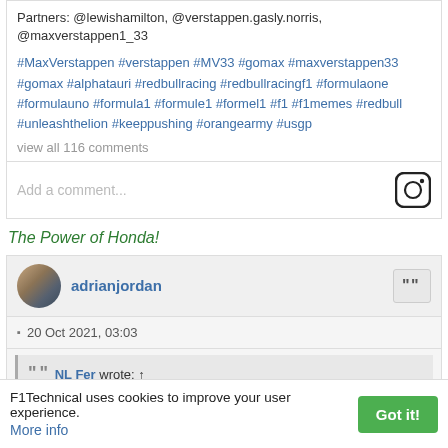Partners: @lewishamilton, @verstappen.gasly.norris, @maxverstappen1_33
#MaxVerstappen #verstappen #MV33 #gomax #maxverstappen33 #gomax #alphatauri #redbullracing #redbullracingf1 #formulaone #formulauno #formula1 #formule1 #formel1 #f1 #f1memes #redbull #unleashthelion #keeppushing #orangearmy #usgp
view all 116 comments
Add a comment...
The Power of Honda!
adrianjordan
20 Oct 2021, 03:03
NL Fer wrote: ↑
F1Technical uses cookies to improve your user experience. More info
Got it!